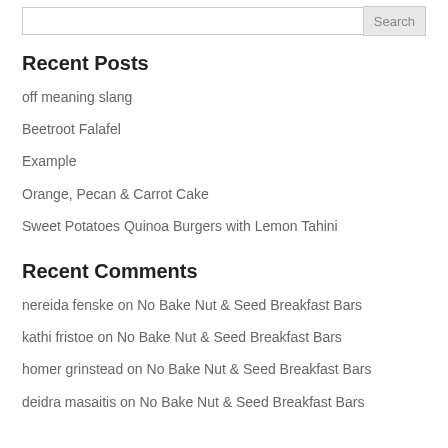Search
Recent Posts
off meaning slang
Beetroot Falafel
Example
Orange, Pecan & Carrot Cake
Sweet Potatoes Quinoa Burgers with Lemon Tahini
Recent Comments
nereida fenske on No Bake Nut & Seed Breakfast Bars
kathi fristoe on No Bake Nut & Seed Breakfast Bars
homer grinstead on No Bake Nut & Seed Breakfast Bars
deidra masaitis on No Bake Nut & Seed Breakfast Bars